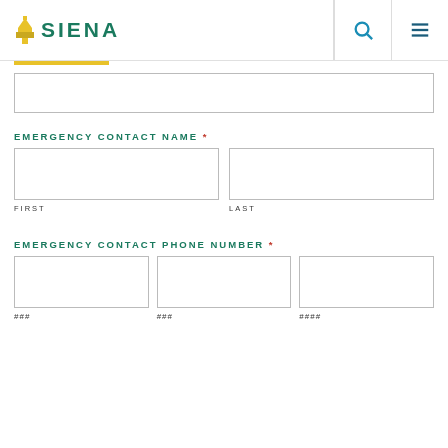SIENA
EMERGENCY CONTACT NAME *
FIRST
LAST
EMERGENCY CONTACT PHONE NUMBER *
###
###
####